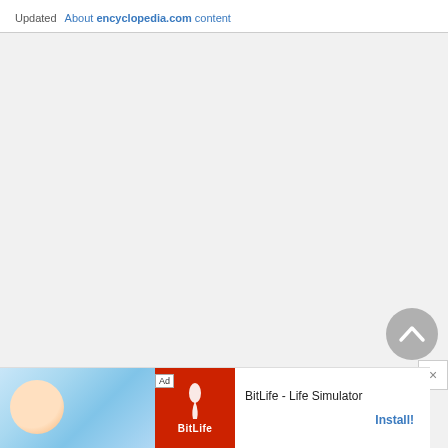Updated   About encyclopedia.com content
[Figure (screenshot): Large empty grey content area of encyclopedia.com webpage]
[Figure (screenshot): Grey circular scroll-to-top button with upward chevron arrow]
[Figure (screenshot): White close (X) button]
[Figure (screenshot): Advertisement banner for BitLife - Life Simulator app with Install button]